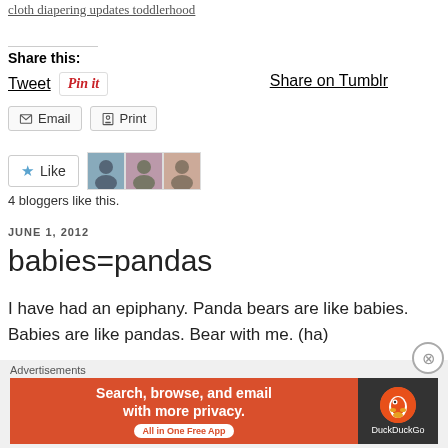cloth diapering updates toddlerhood
Share this:
Tweet  Pin it  Share on Tumblr
Email  Print
[Figure (infographic): Like button with star icon and 3 blogger avatar photos]
4 bloggers like this.
JUNE 1, 2012
babies=pandas
I have had an epiphany. Panda bears are like babies. Babies are like pandas. Bear with me. (ha)
Advertisements
[Figure (screenshot): DuckDuckGo advertisement banner: Search, browse, and email with more privacy. All in One Free App.]